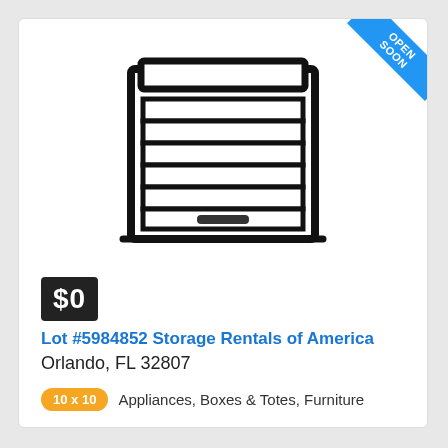[Figure (illustration): Storage unit rollup door icon — a rectangular garage-style rolling door with horizontal panels and a handle slot at the bottom, drawn in black outline style]
$0
Lot #5984852 Storage Rentals of America
Orlando, FL 32807
10 x 10  Appliances, Boxes & Totes, Furniture